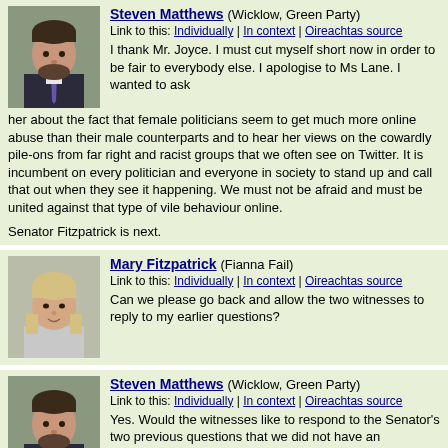Steven Matthews (Wicklow, Green Party)
Link to this: Individually | In context | Oireachtas source
I thank Mr. Joyce. I must cut myself short now in order to be fair to everybody else. I apologise to Ms Lane. I wanted to ask her about the fact that female politicians seem to get much more online abuse than their male counterparts and to hear her views on the cowardly pile-ons from far right and racist groups that we often see on Twitter. It is incumbent on every politician and everyone in society to stand up and call that out when they see it happening. We must not be afraid and must be united against that type of vile behaviour online.
Senator Fitzpatrick is next.
Mary Fitzpatrick (Fianna Fail)
Link to this: Individually | In context | Oireachtas source
Can we please go back and allow the two witnesses to reply to my earlier questions?
Steven Matthews (Wicklow, Green Party)
Link to this: Individually | In context | Oireachtas source
Yes. Would the witnesses like to respond to the Senator's two previous questions that we did not have an opportunity to get to earlier?